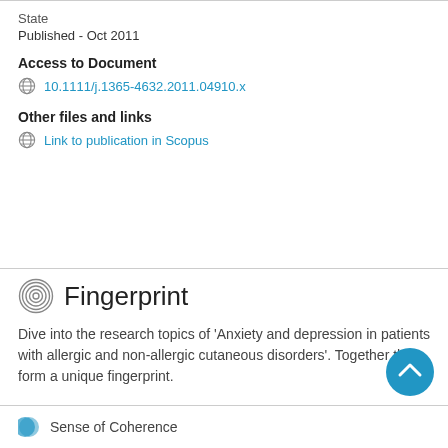State
Published - Oct 2011
Access to Document
10.1111/j.1365-4632.2011.04910.x
Other files and links
Link to publication in Scopus
Fingerprint
Dive into the research topics of 'Anxiety and depression in patients with allergic and non-allergic cutaneous disorders'. Together they form a unique fingerprint.
Sense of Coherence